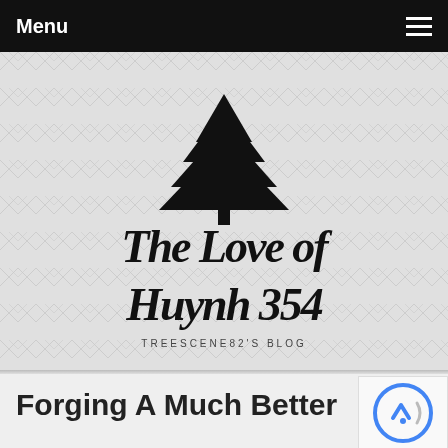Menu
[Figure (logo): Blog logo with hand-drawn pine tree illustration above the text 'The Love of Huynh 354' in hand-lettered style, with subtitle 'TREESCENE82'S BLOG' on a geometric patterned background]
Forging A Much Better